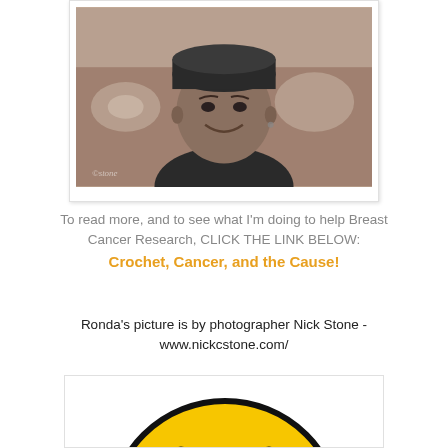[Figure (photo): Black and white/sepia portrait photo of a smiling woman wearing a dark knit cap and dark top, seated on a floral sofa. Polaroid-style white border with shadow.]
To read more, and to see what I'm doing to help Breast Cancer Research, CLICK THE LINK BELOW:
Crochet, Cancer, and the Cause!
Ronda's picture is by photographer Nick Stone - www.nickcstone.com/
[Figure (illustration): Partial yellow smiley face emoji/illustration with blue eyes visible at the bottom of the page, cropped.]